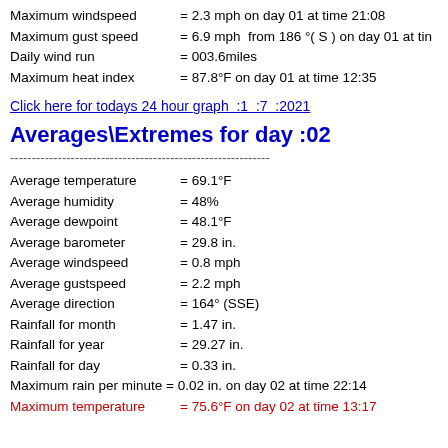Maximum windspeed     = 2.3 mph on day 01 at time 21:08
Maximum gust speed    = 6.9 mph  from 186 °( S ) on day 01 at tin
Daily wind run        = 003.6miles
Maximum heat index    = 87.8°F on day 01 at time 12:35
Click here for todays 24 hour graph  :1  :7  :2021
Averages\Extremes for day :02
------------------------------------------------------------
Average temperature    = 69.1°F
Average humidity       = 48%
Average dewpoint       = 48.1°F
Average barometer      = 29.8 in.
Average windspeed      = 0.8 mph
Average gustspeed      = 2.2 mph
Average direction      = 164° (SSE)
Rainfall for month     = 1.47 in.
Rainfall for year      = 29.27 in.
Rainfall for day       = 0.33 in.
Maximum rain per minute = 0.02 in. on day 02 at time 22:14
Maximum temperature    = 75.6°F on day 02 at time 13:17